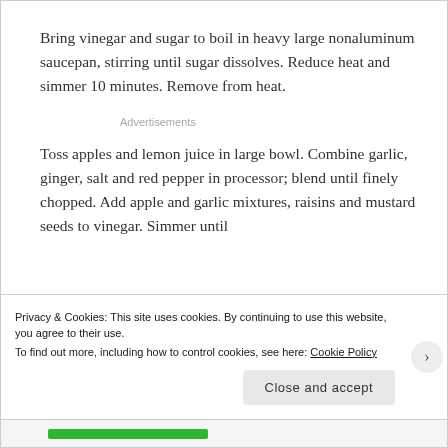Bring vinegar and sugar to boil in heavy large nonaluminum saucepan, stirring until sugar dissolves. Reduce heat and simmer 10 minutes. Remove from heat.
Advertisements
Toss apples and lemon juice in large bowl. Combine garlic, ginger, salt and red pepper in processor; blend until finely chopped. Add apple and garlic mixtures, raisins and mustard seeds to vinegar. Simmer until
Privacy & Cookies: This site uses cookies. By continuing to use this website, you agree to their use.
To find out more, including how to control cookies, see here: Cookie Policy
Close and accept